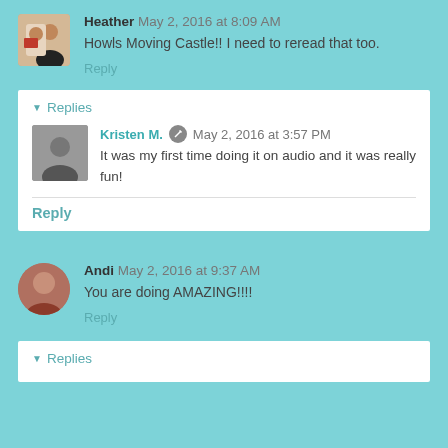Heather  May 2, 2016 at 8:09 AM
Howls Moving Castle!! I need to reread that too.
Reply
▼ Replies
Kristen M.  May 2, 2016 at 3:57 PM
It was my first time doing it on audio and it was really fun!
Reply
Andi  May 2, 2016 at 9:37 AM
You are doing AMAZING!!!!
Reply
▼ Replies